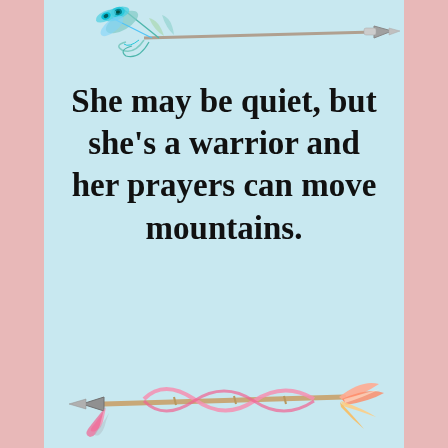[Figure (illustration): Decorative boho arrow pointing right with peacock feathers on the left end and a silver arrowhead on the right, near the top of the image]
She may be quiet, but she's a warrior and her prayers can move mountains.
[Figure (illustration): Decorative boho arrow pointing left with pink ribbon and feathers, orange/gold feathers on the right end, near the bottom of the image]